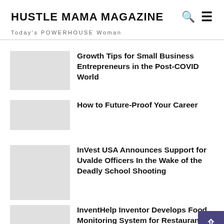HUSTLE MAMA MAGAZINE
Today's POWERHOUSE Woman
Growth Tips for Small Business Entrepreneurs in the Post-COVID World
How to Future-Proof Your Career
InVest USA Announces Support for Uvalde Officers In the Wake of the Deadly School Shooting
InventHelp Inventor Develops Food Monitoring System for Restaurants